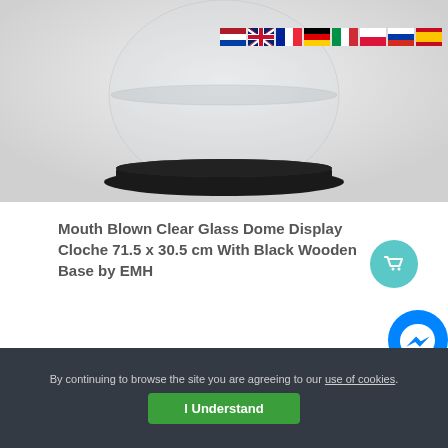[Figure (photo): Product photo of a glass dome display cloche with a black wooden base, shown on a light grey/white background. Flags of Netherlands, UK, France, Germany, Italy, Poland, Russia and Spain are visible in the top right corner.]
Mouth Blown Clear Glass Dome Display Cloche 71.5 x 30.5 cm With Black Wooden Base by EMH
£219.00
[Figure (illustration): Facebook Messenger chat bubble icon, blue circle with white lightning bolt/chat logo]
By continuing to browse the site you are agreeing to our use of cookies.
I Understand